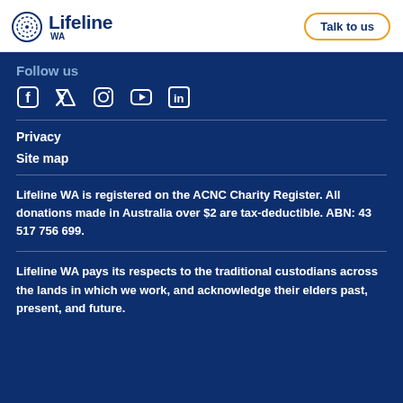Lifeline WA | Talk to us
Follow us
[Figure (illustration): Social media icons: Facebook, Twitter, Instagram, YouTube, LinkedIn]
Privacy
Site map
Lifeline WA is registered on the ACNC Charity Register. All donations made in Australia over $2 are tax-deductible. ABN: 43 517 756 699.
Lifeline WA pays its respects to the traditional custodians across the lands in which we work, and acknowledge their elders past, present, and future.